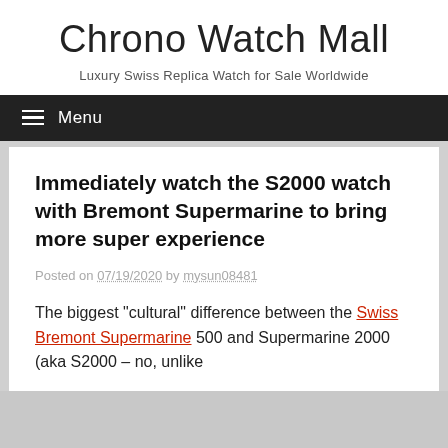Chrono Watch Mall
Luxury Swiss Replica Watch for Sale Worldwide
Menu
Immediately watch the S2000 watch with Bremont Supermarine to bring more super experience
Posted on 07/19/2020 by mysun08481
The biggest "cultural" difference between the Swiss Bremont Supermarine 500 and Supermarine 2000 (aka S2000 – no, unlike